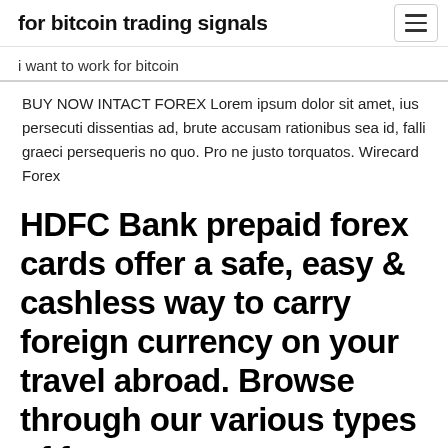for bitcoin trading signals
i want to work for bitcoin
BUY NOW INTACT FOREX Lorem ipsum dolor sit amet, ius persecuti dissentias ad, brute accusam rationibus sea id, falli graeci persequeris no quo. Pro ne justo torquatos. Wirecard Forex
HDFC Bank prepaid forex cards offer a safe, easy & cashless way to carry foreign currency on your travel abroad. Browse through our various types of forex